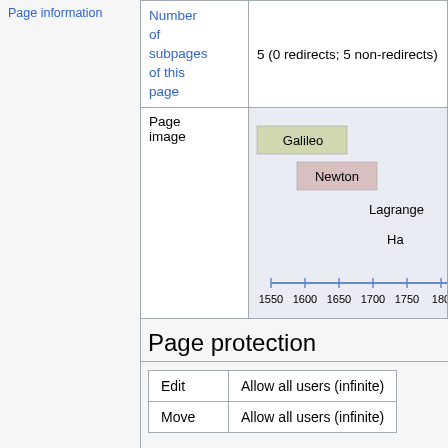Page information
|  |  |
| --- | --- |
| Number of subpages of this page | 5 (0 redirects; 5 non-redirects) |
| Page image | [timeline diagram showing Galileo, Newton, Lagrange, Ha along axis 1550-1800] |
Page protection
|  |  |
| --- | --- |
| Edit | Allow all users (infinite) |
| Move | Allow all users (infinite) |